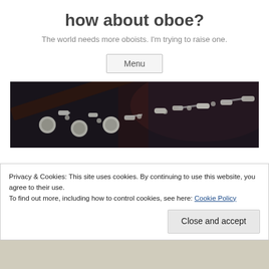how about oboe?
The world needs more oboists. I'm trying to raise one.
Menu
[Figure (photo): Close-up photograph of a dark wood oboe with silver keys and mechanisms, lying in a case]
Privacy & Cookies: This site uses cookies. By continuing to use this website, you agree to their use.
To find out more, including how to control cookies, see here: Cookie Policy
Close and accept